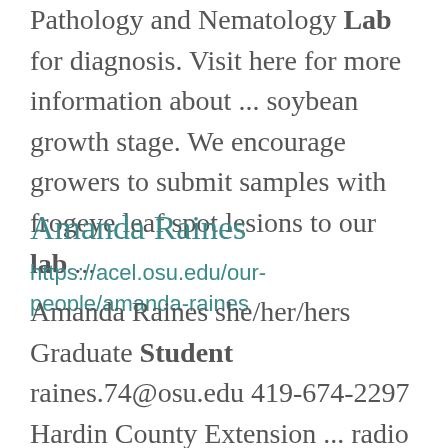Pathology and Nematology Lab for diagnosis. Visit here for more information about ... soybean growth stage. We encourage growers to submit samples with frogeye leaf spot lesions to our lab ...
Amanda Raines
https://acel.osu.edu/our-people/amanda-raines
Amanda Raines she/her/hers Graduate Student raines.74@osu.edu 419-674-2297 Hardin County Extension ... radio news, Amanda realized she needed a career that would allow her to work with youth and serve her ...